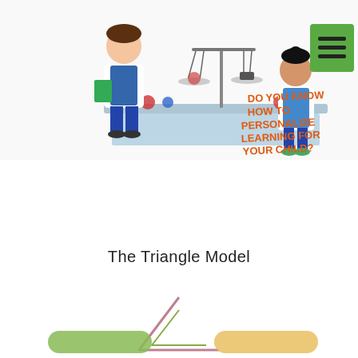[Figure (illustration): Illustration of two cartoon children in lab coats conducting a science experiment at a table with a balance scale. In the upper right is a logo with a brain/globe icon. Orange handwritten-style text reads: 'DO YOU KNOW HOW TO PERSONALIZE LEARNING FOR YOUR CHILD?' A green hamburger menu icon is in the top right corner.]
The Triangle Model
[Figure (illustration): Partial view of a triangle diagram (The Triangle Model) showing the top portion of a pink/mauve outlined triangle in the center, with a green blurred label on the left side and an orange/yellow blurred label on the right side. The triangle and labels are partially cut off at the bottom of the page.]